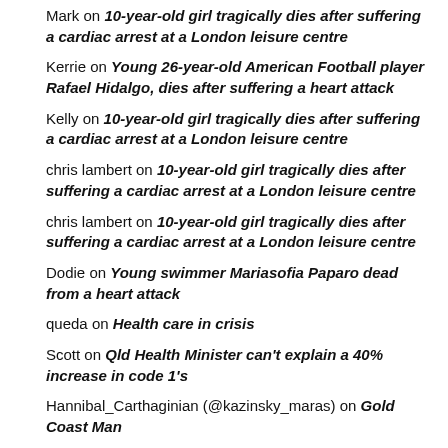Mark on 10-year-old girl tragically dies after suffering a cardiac arrest at a London leisure centre
Kerrie on Young 26-year-old American Football player Rafael Hidalgo, dies after suffering a heart attack
Kelly on 10-year-old girl tragically dies after suffering a cardiac arrest at a London leisure centre
chris lambert on 10-year-old girl tragically dies after suffering a cardiac arrest at a London leisure centre
chris lambert on 10-year-old girl tragically dies after suffering a cardiac arrest at a London leisure centre
Dodie on Young swimmer Mariasofia Paparo dead from a heart attack
queda on Health care in crisis
Scott on Qld Health Minister can't explain a 40% increase in code 1's
Hannibal_Carthaginian (@kazinsky_maras) on Gold Coast Man